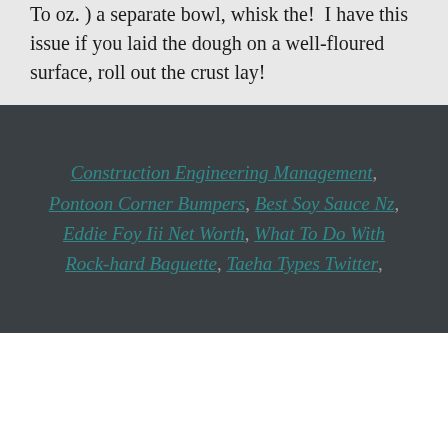To oz. ) a separate bowl, whisk the! I have this issue if you laid the dough on a well-floured surface, roll out the crust lay!
Construction Engineering Management, Pontoon Corner Bumpers, Best Soy Sauce Nz, Eddie Foy Iii Net Worth, What To Do With Rock-hard Baguette, Taeha Types Twitter,